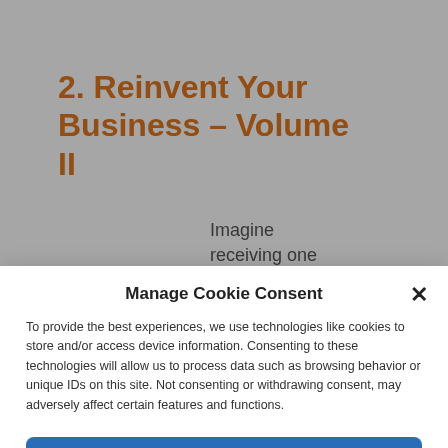2. Reinvent Your Business – Volume II
Imagine
receiving one
Manage Cookie Consent
To provide the best experiences, we use technologies like cookies to store and/or access device information. Consenting to these technologies will allow us to process data such as browsing behavior or unique IDs on this site. Not consenting or withdrawing consent, may adversely affect certain features and functions.
Accept
Privacy Policy